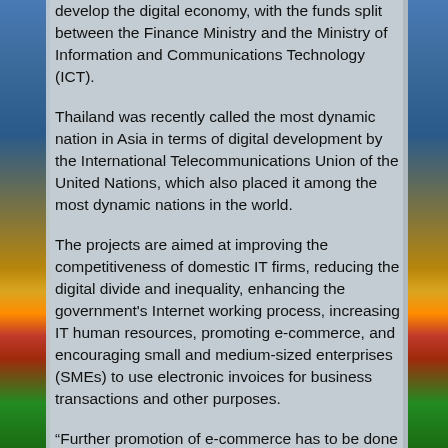develop the digital economy, with the funds split between the Finance Ministry and the Ministry of Information and Communications Technology (ICT).
Thailand was recently called the most dynamic nation in Asia in terms of digital development by the International Telecommunications Union of the United Nations, which also placed it among the most dynamic nations in the world.
The projects are aimed at improving the competitiveness of domestic IT firms, reducing the digital divide and inequality, enhancing the government's Internet working process, increasing IT human resources, promoting e-commerce, and encouraging small and medium-sized enterprises (SMEs) to use electronic invoices for business transactions and other purposes.
“Further promotion of e-commerce has to be done as soon as possible, as the current number of online transactions via e-commerce between businesses and consumers in Thailand has already reached a value of around $58 billion per year, which is the highest in ASEAN at the moment,” said ICT Minister Uttama Savanayana.